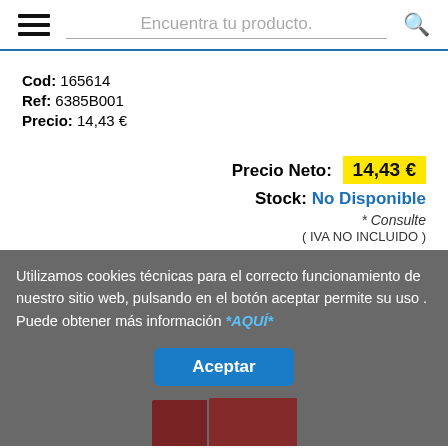Encuentra tu producto.
Cod: 165614
Ref: 6385B001
Precio: 14,43 €
Precio Neto: 14,43 €
Stock: No Disponible
* Consulte
( IVA NO INCLUIDO )
Utilizamos cookies técnicas para el correcto funcionamiento de nuestro sitio web, pulsando en el botón aceptar permite su uso . Puede obtener más información *AQUÍ*
[Figure (screenshot): Product image partially visible at bottom, dark red book covers]